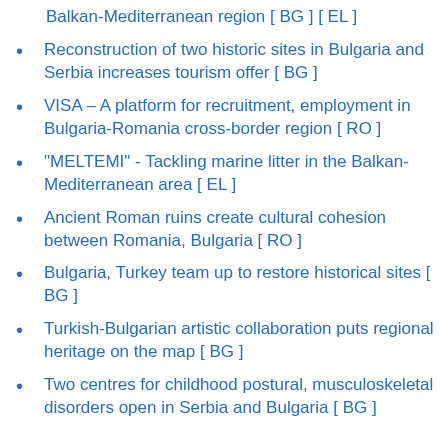Balkan-Mediterranean region [ BG ] [ EL ]
Reconstruction of two historic sites in Bulgaria and Serbia increases tourism offer [ BG ]
VISA – A platform for recruitment, employment in Bulgaria-Romania cross-border region [ RO ]
"MELTEMI" - Tackling marine litter in the Balkan-Mediterranean area [ EL ]
Ancient Roman ruins create cultural cohesion between Romania, Bulgaria [ RO ]
Bulgaria, Turkey team up to restore historical sites [ BG ]
Turkish-Bulgarian artistic collaboration puts regional heritage on the map [ BG ]
Two centres for childhood postural, musculoskeletal disorders open in Serbia and Bulgaria [ BG ]